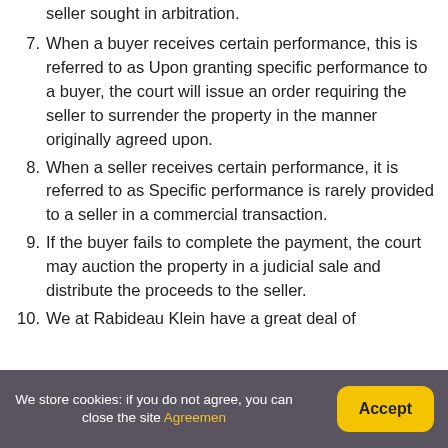seller sought in arbitration.
7. When a buyer receives certain performance, this is referred to as Upon granting specific performance to a buyer, the court will issue an order requiring the seller to surrender the property in the manner originally agreed upon.
8. When a seller receives certain performance, it is referred to as Specific performance is rarely provided to a seller in a commercial transaction.
9. If the buyer fails to complete the payment, the court may auction the property in a judicial sale and distribute the proceeds to the seller.
10. We at Rabideau Klein have a great deal of
We store cookies: if you do not agree, you can close the site Agreement Accept